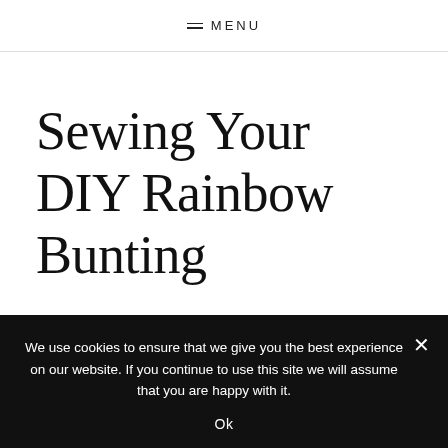MENU
Sewing Your DIY Rainbow Bunting
Decide on the order for your flags. To do
We use cookies to ensure that we give you the best experience on our website. If you continue to use this site we will assume that you are happy with it.
Ok